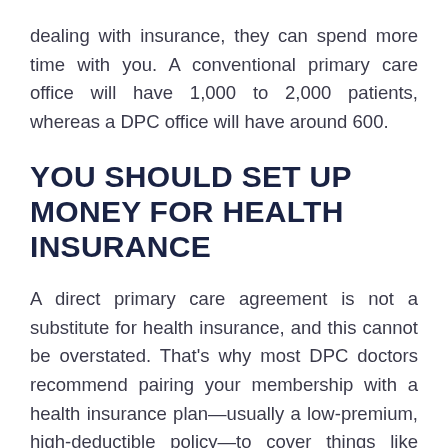dealing with insurance, they can spend more time with you. A conventional primary care office will have 1,000 to 2,000 patients, whereas a DPC office will have around 600.
YOU SHOULD SET UP MONEY FOR HEALTH INSURANCE
A direct primary care agreement is not a substitute for health insurance, and this cannot be overstated. That's why most DPC doctors recommend pairing your membership with a health insurance plan—usually a low-premium, high-deductible policy—to cover things like inpatient hospitalization, surgery, and emergency services.
You must account for this in your healthcare